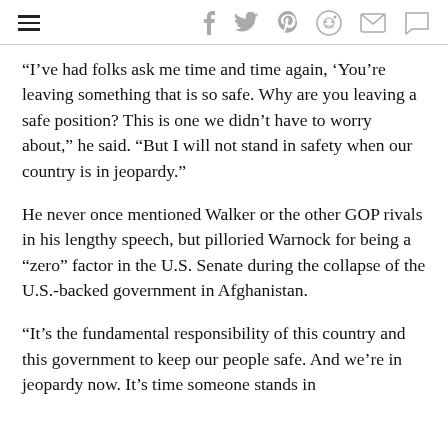[navigation bar with hamburger menu and social icons: facebook, twitter, pinterest, reddit, mail, comment]
“I’ve had folks ask me time and time again, ‘You’re leaving something that is so safe. Why are you leaving a safe position? This is one we didn’t have to worry about,” he said. “But I will not stand in safety when our country is in jeopardy.”
He never once mentioned Walker or the other GOP rivals in his lengthy speech, but pilloried Warnock for being a “zero” factor in the U.S. Senate during the collapse of the U.S.-backed government in Afghanistan.
“It’s the fundamental responsibility of this country and this government to keep our people safe. And we’re in jeopardy now. It’s time someone stands in the gap,” he said. “This country has never been in more jeopardy”